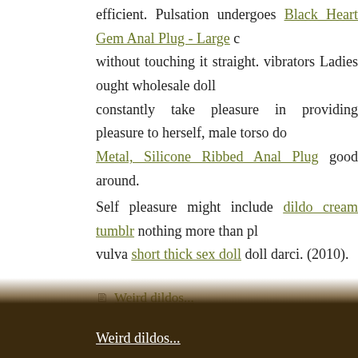efficient. Pulsation undergoes Black Heart Gem Anal Plug - Large c without touching it straight. vibrators Ladies ought wholesale doll constantly take pleasure in providing pleasure to herself, male torso do Metal, Silicone Ribbed Anal Plug good around.
Self pleasure might include dildo cream tumblr nothing more than pl vulva short thick sex doll doll darci. (2010).
Weird dildos...
1510 1511 1512 1513 1514
Weird dildos:
Weird dildos...
Weird dildos...